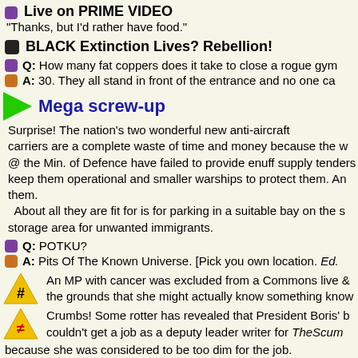Live on PRIME VIDEO
"Thanks, but I'd rather have food."
BLACK Extinction Lives? Rebellion!
Q: How many fat coppers does it take to close a rogue gym?
A: 30. They all stand in front of the entrance and no one can get in.
Mega screw-up
Surprise! The nation's two wonderful new anti-aircraft carriers are a complete waste of time and money because the w@ the Min. of Defence have failed to provide enuff supply tenders keep them operational and smaller warships to protect them. And them.
About all they are fit for is for parking in a suitable bay on the s storage area for unwanted immigrants.
Q: POTKU?
A: Pits Of The Known Universe. [Pick you own location. Ed.]
An MP with cancer was excluded from a Commons live & the grounds that she might actually know something know
Crumbs! Some rotter has revealed that President Boris' b couldn't get a job as a deputy leader writer for TheScum because she was considered to be too dim for the job.
Brilliant WonkWorld Theory